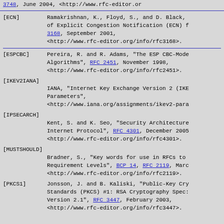3748, June 2004, <http://www.rfc-editor.org/...
[ECN] Ramakrishnan, K., Floyd, S., and D. Black, of Explicit Congestion Notification (ECN) RFC 3168, September 2001, <http://www.rfc-editor.org/info/rfc3168>.
[ESPCBC] Pereira, R. and R. Adams, "The ESP CBC-Mode Algorithms", RFC 2451, November 1998, <http://www.rfc-editor.org/info/rfc2451>.
[IKEV2IANA] IANA, "Internet Key Exchange Version 2 (IKE Parameters", <http://www.iana.org/assignments/ikev2-para...
[IPSECARCH] Kent, S. and K. Seo, "Security Architecture Internet Protocol", RFC 4301, December 2005, <http://www.rfc-editor.org/info/rfc4301>.
[MUSTSHOULD] Bradner, S., "Key words for use in RFCs to Requirement Levels", BCP 14, RFC 2119, March <http://www.rfc-editor.org/info/rfc2119>.
[PKCS1] Jonsson, J. and B. Kaliski, "Public-Key Cryptography Standards (PKCS) #1: RSA Cryptography Specification Version 2.1", RFC 3447, February 2003, <http://www.rfc-editor.org/info/rfc3447>.